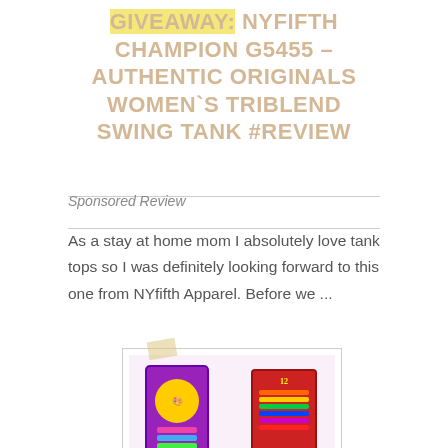GIVEAWAY: NYfifth Champion G5455 – Authentic Originals Women's Triblend Swing Tank #review
Sponsored Review
As a stay at home mom I absolutely love tank tops so I was definitely looking forward to this one from NYfifth Apparel. Before we ...
[Figure (photo): Photo collage of colorful crayon/marker sets: a purple box set on top left, a red tray set on top right, a row of colored crayons on bottom left, and colored markers on bottom right. Small watermark text visible in top image area.]